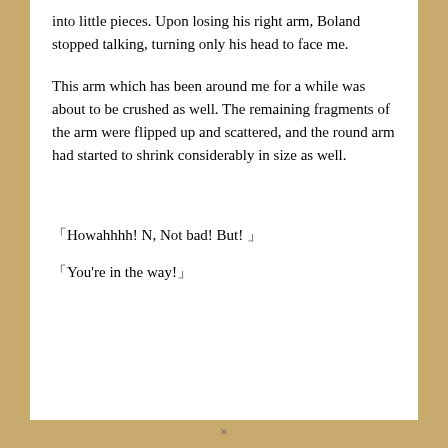into little pieces. Upon losing his right arm, Boland stopped talking, turning only his head to face me.
This arm which has been around me for a while was about to be crushed as well. The remaining fragments of the arm were flipped up and scattered, and the round arm had started to shrink considerably in size as well.
「Howahhhh! N, Not bad! But! 」
「You're in the way!」
×